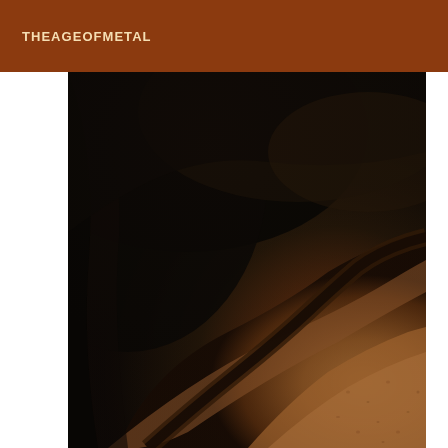THEAGEOFMETAL
[Figure (photo): Close-up macro photograph of a metallic or organic curved surface, heavily shadowed dark tones on the left transitioning to warm brown/amber tones on the right, showing fine textured detail on the illuminated curved surface.]